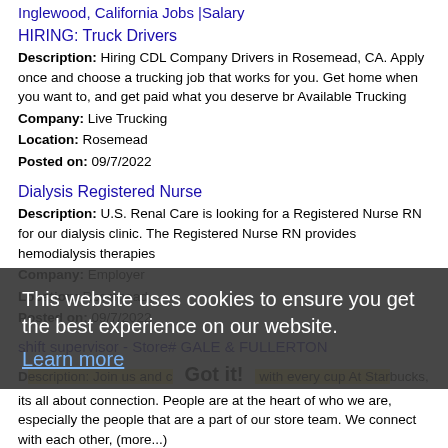Inglewood, California Jobs |Salary
HIRING: Truck Drivers
Description: Hiring CDL Company Drivers in Rosemead, CA. Apply once and choose a trucking job that works for you. Get home when you want to, and get paid what you deserve br Available Trucking
Company: Live Trucking
Location: Rosemead
Posted on: 09/7/2022
Dialysis Registered Nurse
Description: U.S. Renal Care is looking for a Registered Nurse RN for our dialysis clinic. The Registered Nurse RN provides hemodialysis therapies
Company: Employer
Location: Rosemead
Posted on: 09/7/2022
shift supervisor - Store# GALE & FULLERTON
Description: Join us and connect with every cup At Starbucks, its all about connection. People are at the heart of who we are, especially the people that are a part of our store team. We connect with each other, (more...)
This website uses cookies to ensure you get the best experience on our website. Learn more Got it!